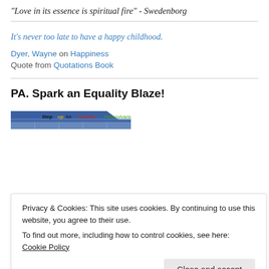"Love in its essence is spiritual fire" - Swedenborg
It's never too late to have a happy childhood.
Dyer, Wayne on Happiness
Quote from Quotations Book
PA. Spark an Equality Blaze!
[Figure (illustration): Banner image: Step up for Equality Pennsylvania]
Privacy & Cookies: This site uses cookies. By continuing to use this website, you agree to their use.
To find out more, including how to control cookies, see here: Cookie Policy
Close and accept